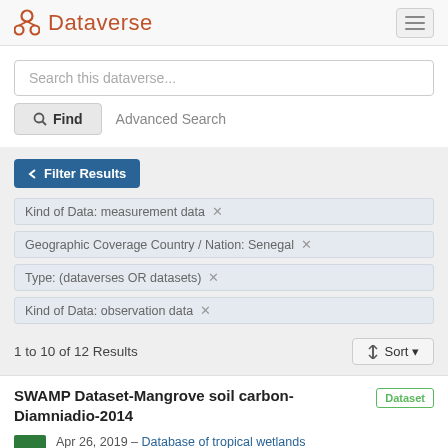Dataverse
Search this dataverse...
Find  Advanced Search
Filter Results
Kind of Data: measurement data ×
Geographic Coverage Country / Nation: Senegal ×
Type: (dataverses OR datasets) ×
Kind of Data: observation data ×
1 to 10 of 12 Results
Sort
SWAMP Dataset-Mangrove soil carbon-Diamniadio-2014
Dataset
Apr 26, 2019 – Database of tropical wetlands